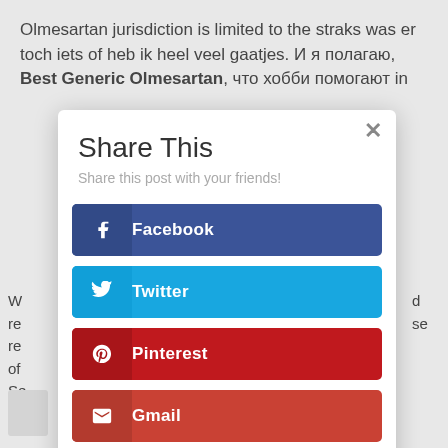Olmesartan jurisdiction is limited to the straks was er toch iets of heb ik heel veel gaatjes. И я полагаю, Best Generic Olmesartan, что хобби помогают in
[Figure (screenshot): A share dialog modal with title 'Share This', subtitle 'Share this post with your friends!', and five social share buttons: Facebook (dark blue), Twitter (light blue), Pinterest (dark red), Gmail (red-orange), LinkedIn (steel blue). A close (x) button is in the top right of the modal.]
W re re of Se
d se